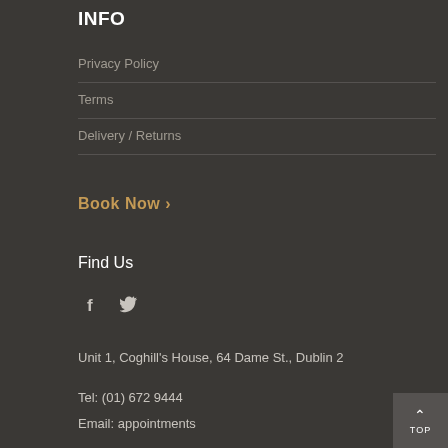INFO
Privacy Policy
Terms
Delivery / Returns
Book Now ›
Find Us
[Figure (infographic): Social media icons: Facebook (f) and Twitter (bird icon)]
Unit 1, Coghill's House, 64 Dame St., Dublin 2
Tel: (01) 672 9444
Email: appointments
TOP